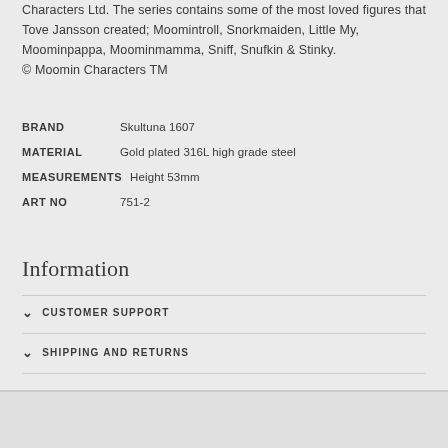Characters Ltd. The series contains some of the most loved figures that Tove Jansson created; Moomintroll, Snorkmaiden, Little My, Moominpappa, Moominmamma, Sniff, Snufkin & Stinky. © Moomin Characters TM
BRAND   Skultuna 1607
MATERIAL   Gold plated 316L high grade steel
MEASUREMENTS   Height 53mm
ART NO   751-2
Information
CUSTOMER SUPPORT
SHIPPING AND RETURNS